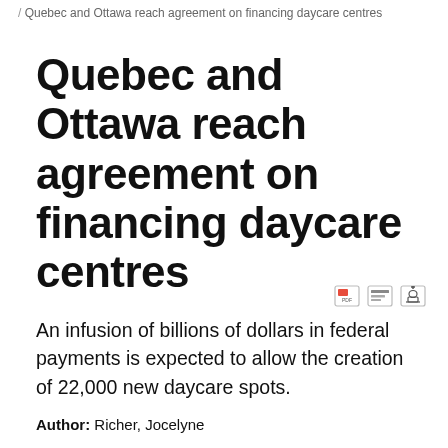/ Quebec and Ottawa reach agreement on financing daycare centres
Quebec and Ottawa reach agreement on financing daycare centres
An infusion of billions of dollars in federal payments is expected to allow the creation of 22,000 new daycare spots.
Author: Richer, Jocelyne